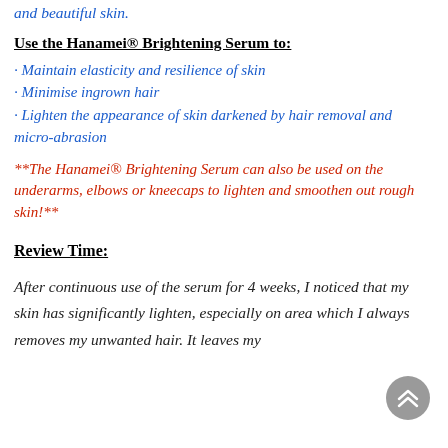and beautiful skin.
Use the Hanamei® Brightening Serum to:
· Maintain elasticity and resilience of skin
· Minimise ingrown hair
· Lighten the appearance of skin darkened by hair removal and micro-abrasion
**The Hanamei® Brightening Serum can also be used on the underarms, elbows or kneecaps to lighten and smoothen out rough skin!**
Review Time:
After continuous use of the serum for 4 weeks, I noticed that my skin has significantly lighten, especially on area which I always removes my unwanted hair. It leaves my